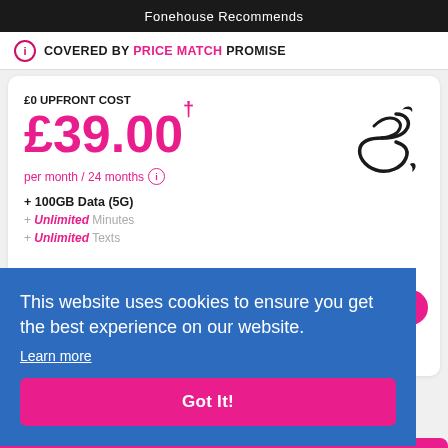Fonehouse Recommends
COVERED BY PRICE MATCH PROMISE
£0 UPFRONT COST
£39.00†
per month / 24 months
+ 100GB Data (5G)
+ Unlimited Minutes
+ Unlimited Texts
[Figure (logo): Three mobile network logo — stylised number 3 with flame/wave motif, black outline]
This website uses cookies to ensure you get the best experience on our website.
Learn more
Got It!